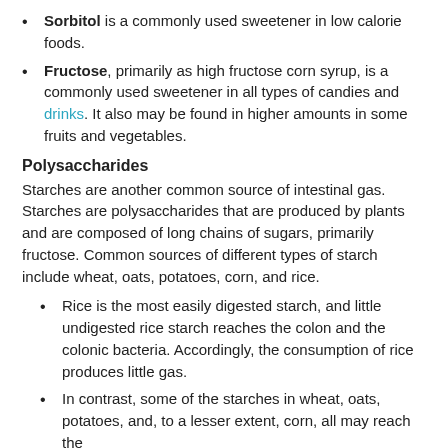Sorbitol is a commonly used sweetener in low calorie foods.
Fructose, primarily as high fructose corn syrup, is a commonly used sweetener in all types of candies and drinks. It also may be found in higher amounts in some fruits and vegetables.
Polysaccharides
Starches are another common source of intestinal gas. Starches are polysaccharides that are produced by plants and are composed of long chains of sugars, primarily fructose. Common sources of different types of starch include wheat, oats, potatoes, corn, and rice.
Rice is the most easily digested starch, and little undigested rice starch reaches the colon and the colonic bacteria. Accordingly, the consumption of rice produces little gas.
In contrast, some of the starches in wheat, oats, potatoes, and, to a lesser extent, corn, all may reach the